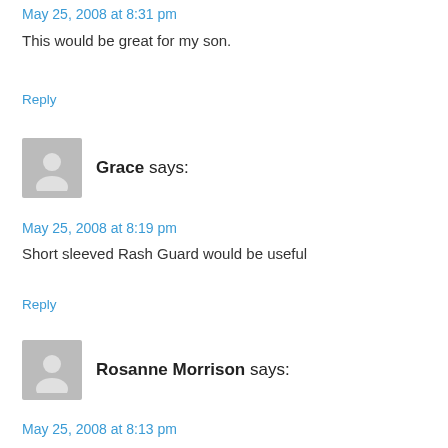May 25, 2008 at 8:31 pm
This would be great for my son.
Reply
Grace says:
May 25, 2008 at 8:19 pm
Short sleeved Rash Guard would be useful
Reply
Rosanne Morrison says:
May 25, 2008 at 8:13 pm